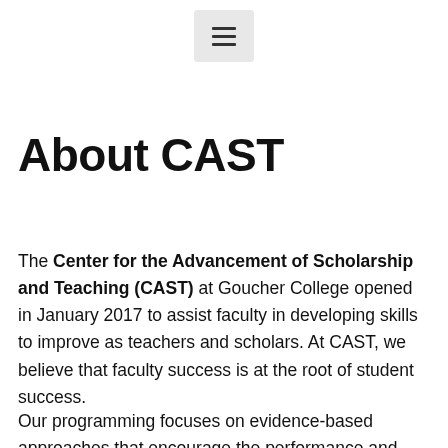[Figure (other): Hamburger menu icon button centered at top of page]
About CAST
The Center for the Advancement of Scholarship and Teaching (CAST) at Goucher College opened in January 2017 to assist faculty in developing skills to improve as teachers and scholars. At CAST, we believe that faculty success is at the root of student success.
Our programming focuses on evidence-based approaches that encourage the performance and